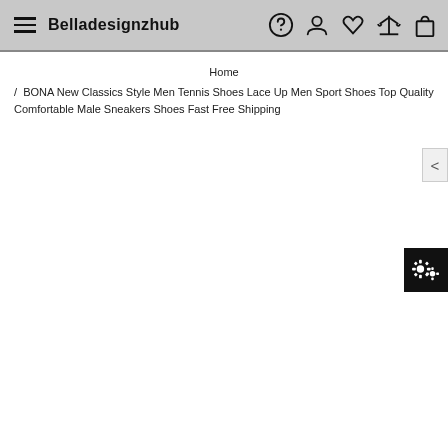Belladesignzhub
Home / BONA New Classics Style Men Tennis Shoes Lace Up Men Sport Shoes Top Quality Comfortable Male Sneakers Shoes Fast Free Shipping